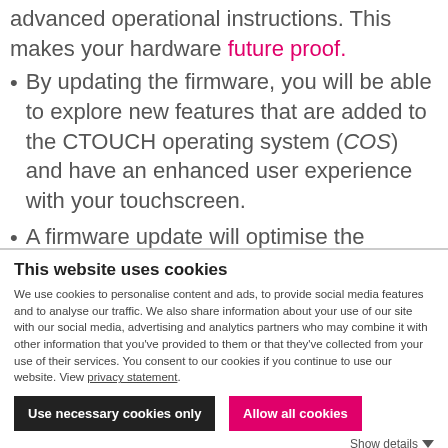advanced operational instructions. This makes your hardware future proof.
By updating the firmware, you will be able to explore new features that are added to the CTOUCH operating system (COS) and have an enhanced user experience with your touchscreen.
A firmware update will optimise the performance of hardware drivers which elevates your screen.
This website uses cookies
We use cookies to personalise content and ads, to provide social media features and to analyse our traffic. We also share information about your use of our site with our social media, advertising and analytics partners who may combine it with other information that you've provided to them or that they've collected from your use of their services. You consent to our cookies if you continue to use our website. View privacy statement.